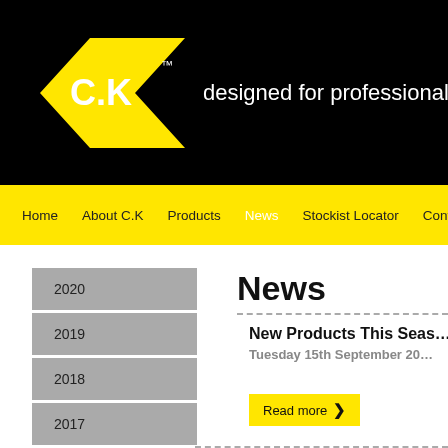[Figure (logo): C.K Tools logo — yellow diamond shape with white C.K text inside, superscript TM, on black background with tagline 'designed for professionals']
Home   About C.K   Products   News   Stockist Locator   Contact
2020
2019
2018
2017
2016
2015
2014
News
New Products This Season
Tuesday 15th September 20...
Read more